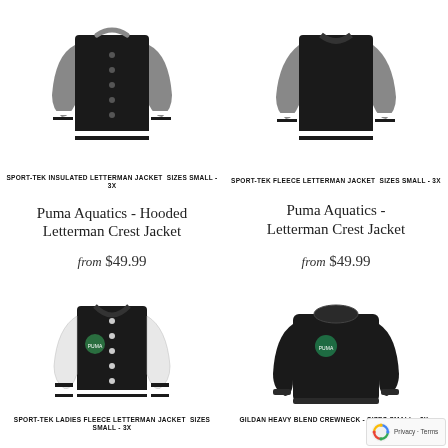[Figure (photo): Sport-Tek Insulated Letterman Jacket, black body with grey sleeves and striped cuffs]
SPORT-TEK INSULATED LETTERMAN JACKET  SIZES SMALL - 3X
Puma Aquatics - Hooded Letterman Crest Jacket
from $49.99
[Figure (photo): Sport-Tek Fleece Letterman Jacket, black body with grey sleeves and striped cuffs]
SPORT-TEK FLEECE LETTERMAN JACKET  SIZES SMALL - 3X
Puma Aquatics - Letterman Crest Jacket
from $49.99
[Figure (photo): Sport-Tek Ladies Fleece Letterman Jacket, black body with white sleeves and Puma Aquatics crest logo]
SPORT-TEK LADIES FLEECE LETTERMAN JACKET  SIZES SMALL - 3X
[Figure (photo): Gildan Heavy Blend Crewneck sweatshirt in black with Puma Aquatics crest logo]
GILDAN HEAVY BLEND CREWNECK - SIZES SMALL - 3X